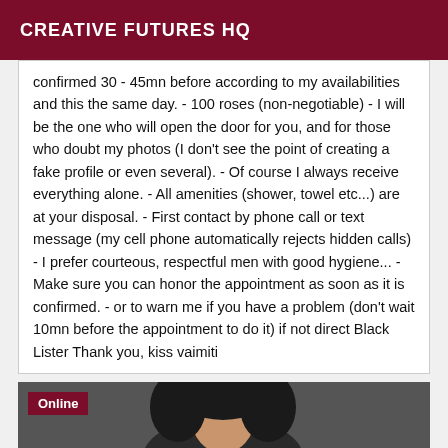CREATIVE FUTURES HQ
confirmed 30 - 45mn before according to my availabilities and this the same day. - 100 roses (non-negotiable) - I will be the one who will open the door for you, and for those who doubt my photos (I don't see the point of creating a fake profile or even several). - Of course I always receive everything alone. - All amenities (shower, towel etc...) are at your disposal. - First contact by phone call or text message (my cell phone automatically rejects hidden calls) - I prefer courteous, respectful men with good hygiene... - Make sure you can honor the appointment as soon as it is confirmed. - or to warn me if you have a problem (don't wait 10mn before the appointment to do it) if not direct Black Lister Thank you, kiss vaimiti
[Figure (photo): Photo of a person, partially visible, with an 'Online' badge in the top-left corner over a dark background.]